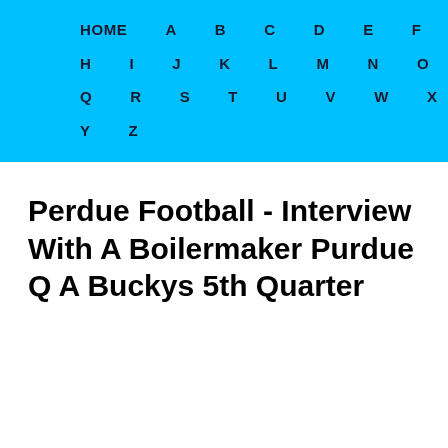HOME A B C D E F G H I J K L M N O P Q R S T U V W X Y Z
Perdue Football - Interview With A Boilermaker Purdue Q A Buckys 5th Quarter